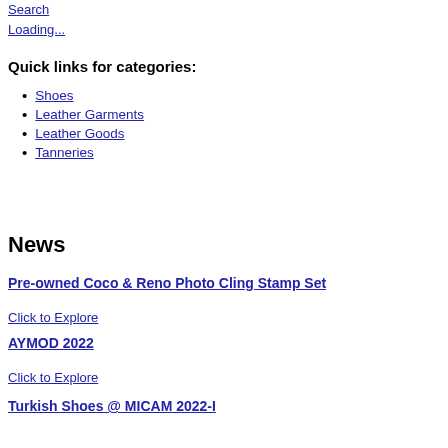Search
Loading...
Quick links for categories:
Shoes
Leather Garments
Leather Goods
Tanneries
News
Pre-owned Coco & Reno Photo Cling Stamp Set
Click to Explore
AYMOD 2022
Click to Explore
Turkish Shoes @ MICAM 2022-I